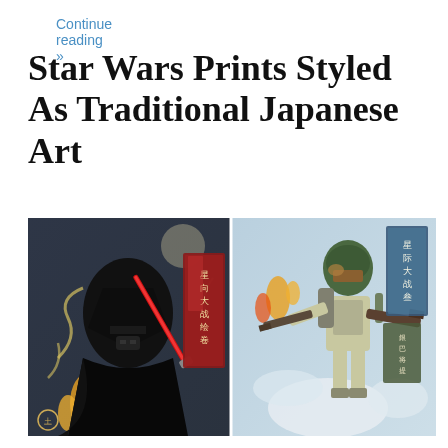Continue reading »
Star Wars Prints Styled As Traditional Japanese Art
[Figure (illustration): Two side-by-side Japanese ukiyo-e style prints featuring Star Wars characters: left panel shows Darth Vader with a red lightsaber against a moonlit background with flames and swirling smoke; right panel shows Boba Fett with weapons in a dynamic pose with flames and clouds, both prints have Japanese text cartouches.]